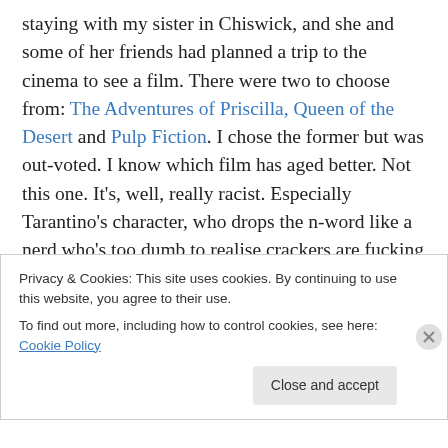staying with my sister in Chiswick, and she and some of her friends had planned a trip to the cinema to see a film. There were two to choose from: The Adventures of Priscilla, Queen of the Desert and Pulp Fiction. I chose the former but was out-voted. I know which film has aged better. Not this one. It's, well, really racist. Especially Tarantino's character, who drops the n-word like a nerd who's too dumb to realise crackers are fucking horrible people. Perhaps the chopped-up chronology of the narrative was innovative in 1994, although I'm pretty sure Hollywood has been playing tricks with narrative
Privacy & Cookies: This site uses cookies. By continuing to use this website, you agree to their use.
To find out more, including how to control cookies, see here: Cookie Policy